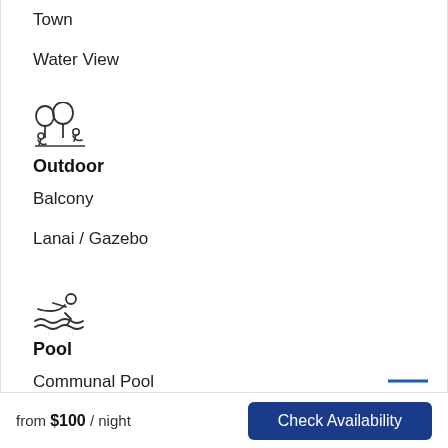Town
Water View
[Figure (illustration): Outdoor icon showing two people with trees/nature]
Outdoor
Balcony
Lanai / Gazebo
[Figure (illustration): Pool/swimming icon showing a person swimming with waves]
Pool
Communal Pool
Heated Pool
Hot Tub
from $100 / night   Check Availability